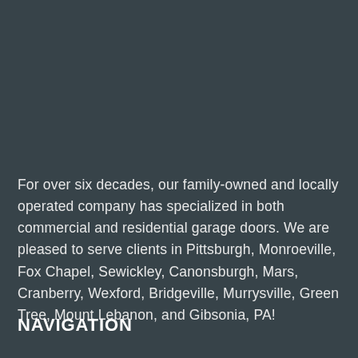For over six decades, our family-owned and locally operated company has specialized in both commercial and residential garage doors. We are pleased to serve clients in Pittsburgh, Monroeville, Fox Chapel, Sewickley, Canonsburgh, Mars, Cranberry, Wexford, Bridgeville, Murrysville, Green Tree, Mount Lebanon, and Gibsonia, PA!
NAVIGATION